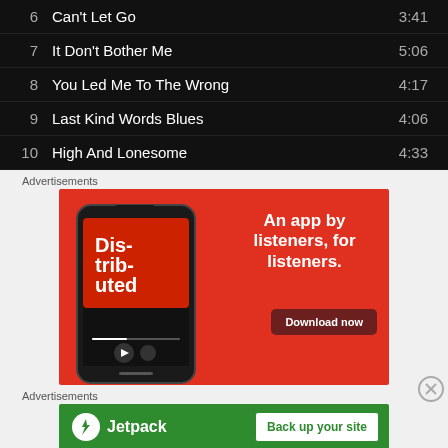6  Can't Let Go  3:41
7  It Don't Bother Me  5:06
8  You Led Me To The Wrong  4:17
9  Last Kind Words Blues  4:06
10  High And Lonesome  4:33
Advertisements
[Figure (photo): Red advertisement banner for a podcast app showing a phone with 'Distributed' podcast and text 'An app by listeners, for listeners.' with a Download now button]
Advertisements
[Figure (logo): Jetpack green advertisement banner with logo and 'Back up your site' button]